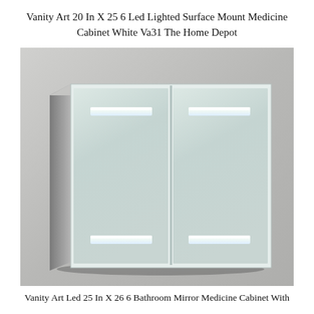Vanity Art 20 In X 25 6 Led Lighted Surface Mount Medicine Cabinet White Va31 The Home Depot
[Figure (photo): Photo of a white/light grey double-door LED lighted surface mount medicine cabinet with two illuminated strips on each door (top and bottom), shown mounted against a light grey wall.]
Vanity Art Led 25 In X 26 6 Bathroom Mirror Medicine Cabinet With